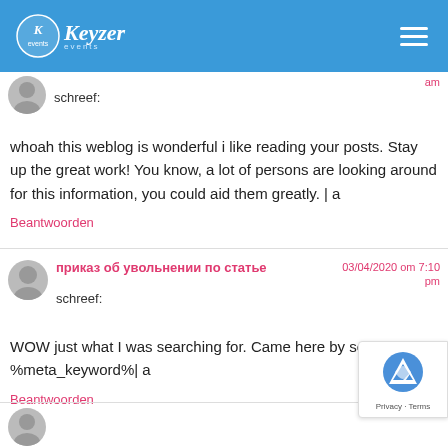Keyzer events
schreef:
whoah this weblog is wonderful i like reading your posts. Stay up the great work! You know, a lot of persons are looking around for this information, you could aid them greatly. | a
Beantwoorden
приказ об увольнении по статье schreef:
03/04/2020 om 7:10 pm
WOW just what I was searching for. Came here by searching for %meta_keyword%| a
Beantwoorden